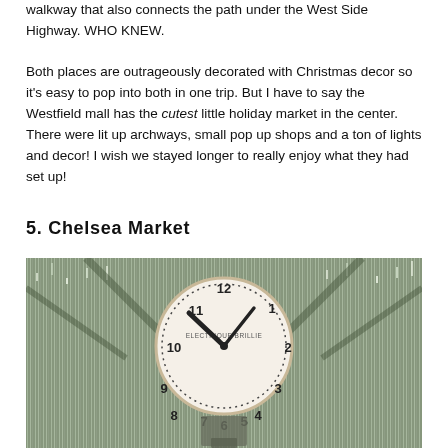walkway that also connects the path under the West Side Highway. WHO KNEW.
Both places are outrageously decorated with Christmas decor so it's easy to pop into both in one trip. But I have to say the Westfield mall has the cutest little holiday market in the center. There were lit up archways, small pop up shops and a ton of lights and decor! I wish we stayed longer to really enjoy what they had set up!
5. Chelsea Market
[Figure (photo): A large clock with 'ELECTRIQUE BRILLIE' text on its face, surrounded by shimmering silver tinsel/Christmas decorations hanging from the ceiling at Chelsea Market.]